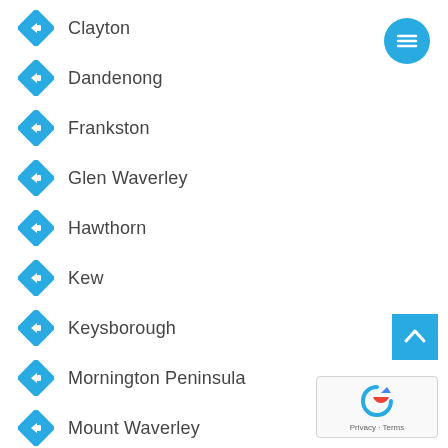Clayton
Dandenong
Frankston
Glen Waverley
Hawthorn
Kew
Keysborough
Mornington Peninsula
Mount Waverley
Oakleigh
[Figure (other): Circular teal hamburger menu button in top-right corner]
[Figure (other): Blue scroll-to-top arrow button in bottom-right area]
[Figure (other): Google reCAPTCHA badge in bottom-right corner with Privacy and Terms text]